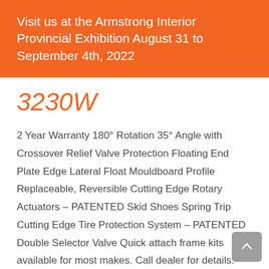Visit us at the Armstrong Interior Provincial Exhibition August 31 to September 4th, 2022
3230W
2 Year Warranty 180° Rotation 35° Angle with Crossover Relief Valve Protection Floating End Plate Edge Lateral Float Mouldboard Profile Replaceable, Reversible Cutting Edge Rotary Actuators – PATENTED Skid Shoes Spring Trip Cutting Edge Tire Protection System – PATENTED Double Selector Valve Quick attach frame kits available for most makes. Call dealer for details. Available